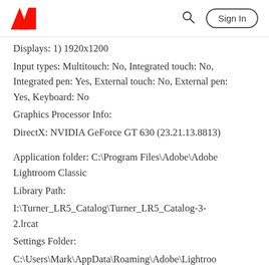Adobe logo, Search, Sign In
Displays: 1) 1920x1200
Input types: Multitouch: No, Integrated touch: No, Integrated pen: Yes, External touch: No, External pen: Yes, Keyboard: No
Graphics Processor Info:
DirectX: NVIDIA GeForce GT 630 (23.21.13.8813)
Application folder: C:\Program Files\Adobe\Adobe Lightroom Classic
Library Path:
I:\Turner_LR5_Catalog\Turner_LR5_Catalog-3-2.lrcat
Settings Folder:
C:\Users\Mark\AppData\Roaming\Adobe\Lightroo